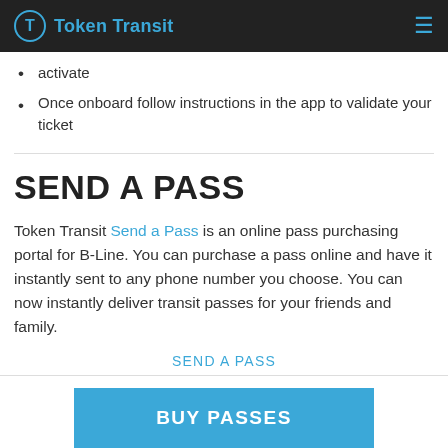Token Transit
activate
Once onboard follow instructions in the app to validate your ticket
SEND A PASS
Token Transit Send a Pass is an online pass purchasing portal for B-Line. You can purchase a pass online and have it instantly sent to any phone number you choose. You can now instantly deliver transit passes for your friends and family.
SEND A PASS
BUY PASSES